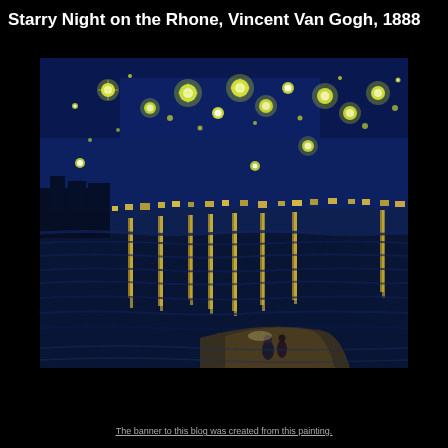Starry Night on the Rhone, Vincent Van Gogh, 1888
[Figure (illustration): Van Gogh's 'Starry Night on the Rhone' (1888): A nighttime scene showing the Rhone river with luminous star reflections on dark blue water, city lights on the far bank, and a couple standing near the water in the foreground. The sky is deep blue with bright swirling stars.]
The banner to this blog was created from this painting.